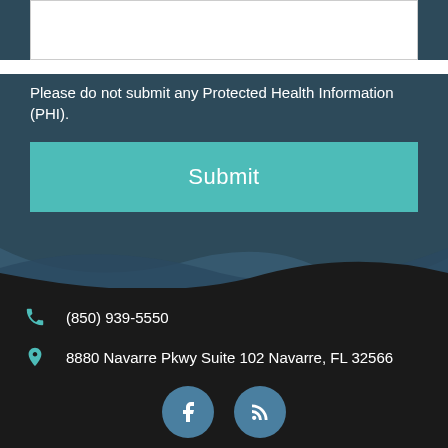Please do not submit any Protected Health Information (PHI).
Submit
(850) 939-5550
8880 Navarre Pkwy Suite 102 Navarre, FL 32566